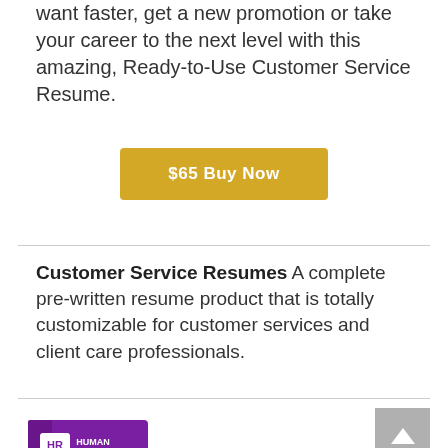want faster, get a new promotion or take your career to the next level with this amazing, Ready-to-Use Customer Service Resume.
[Figure (other): Yellow/gold '$65 Buy Now' button]
Customer Service Resumes A complete pre-written resume product that is totally customizable for customer services and client care professionals.
[Figure (other): Gray 'back to top' arrow button on the right side]
[Figure (photo): Product image showing Human Resources Resumes book and CD case in purple/maroon color with HR logo]